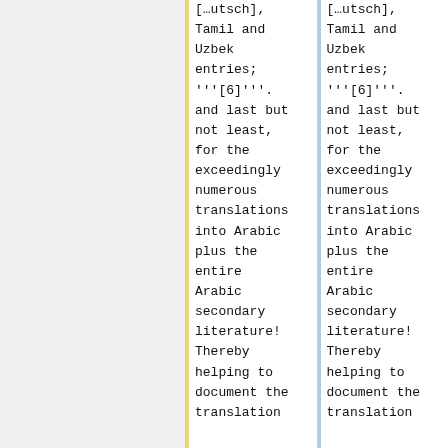[…utsch], Tamil and Uzbek entries; '''[6]'''. and last but not least, for the exceedingly numerous translations into Arabic plus the entire Arabic secondary literature! Thereby helping to document the translation
[…utsch], Tamil and Uzbek entries; '''[6]'''. and last but not least, for the exceedingly numerous translations into Arabic plus the entire Arabic secondary literature! Thereby helping to document the translation